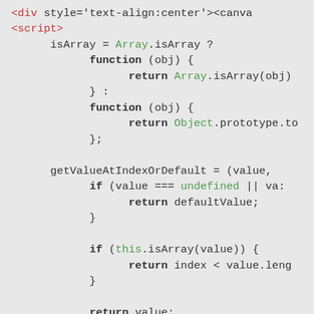[Figure (screenshot): Code snippet showing JavaScript code with syntax highlighting. Contains HTML tag, script tag, and JavaScript functions including isArray, getValueAtIndexOrDefault with conditionals.]